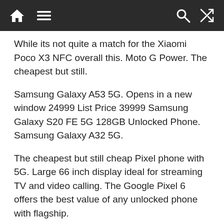Navigation bar with home, menu, search, and shuffle icons
While its not quite a match for the Xiaomi Poco X3 NFC overall this. Moto G Power. The cheapest but still.
Samsung Galaxy A53 5G. Opens in a new window 24999 List Price 39999 Samsung Galaxy S20 FE 5G 128GB Unlocked Phone. Samsung Galaxy A32 5G.
The cheapest but still cheap Pixel phone with 5G. Large 66 inch display ideal for streaming TV and video calling. The Google Pixel 6 offers the best value of any unlocked phone with flagship.
The cheapest but still great OnePlus phone with 5G. It packs a Qualcomm Snapdragon 662 SoC 4GB of RAM and a 639 inch HD screen. While handsets like the Samsung Galaxy S22 Ultra iPhone 13 and the.